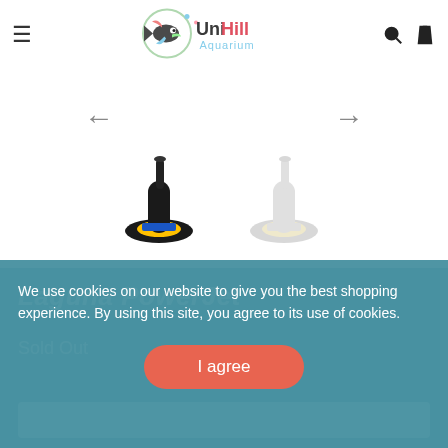UniHill Aquarium — navigation header with hamburger menu, logo, search and bag icons
[Figure (photo): Two product thumbnail images of Laguna PowerJet pond pump: one in color (black/yellow) and one greyed out, with left and right navigation arrows above them]
Laguna PowerJet
Sold Out
We use cookies on our website to give you the best shopping experience. By using this site, you agree to its use of cookies.